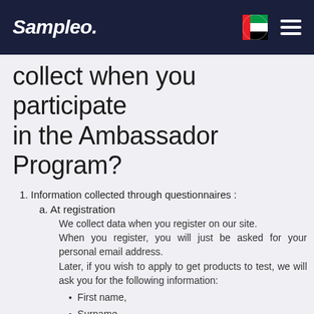Sampleo.
collect when you participate in the Ambassador Program?
1. Information collected through questionnaires :
a. At registration
We collect data when you register on our site. When you register, you will just be asked for your personal email address. Later, if you wish to apply to get products to test, we will ask you for the following information:
First name,
Surname,
Landline number,